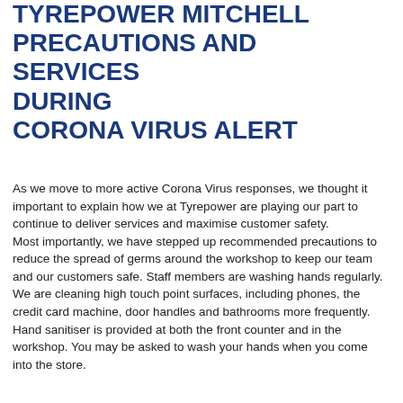TYREPOWER MITCHELL PRECAUTIONS AND SERVICES DURING CORONA VIRUS ALERT
As we move to more active Corona Virus responses, we thought it important to explain how we at Tyrepower are playing our part to continue to deliver services and maximise customer safety. Most importantly, we have stepped up recommended precautions to reduce the spread of germs around the workshop to keep our team and our customers safe. Staff members are washing hands regularly. We are cleaning high touch point surfaces, including phones, the credit card machine, door handles and bathrooms more frequently. Hand sanitiser is provided at both the front counter and in the workshop. You may be asked to wash your hands when you come into the store.